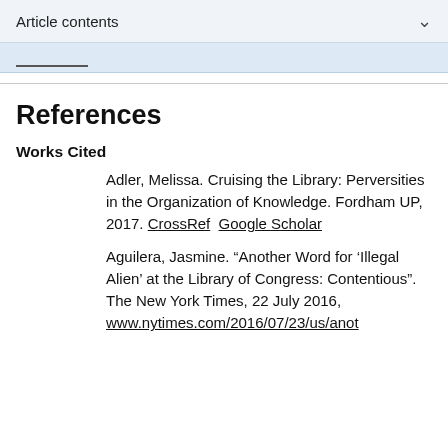Article contents
References
Works Cited
Adler, Melissa. Cruising the Library: Perversities in the Organization of Knowledge. Fordham UP, 2017. CrossRef  Google Scholar
Aguilera, Jasmine. “Another Word for ‘Illegal Alien’ at the Library of Congress: Contentious”. The New York Times, 22 July 2016, www.nytimes.com/2016/07/23/us/anot